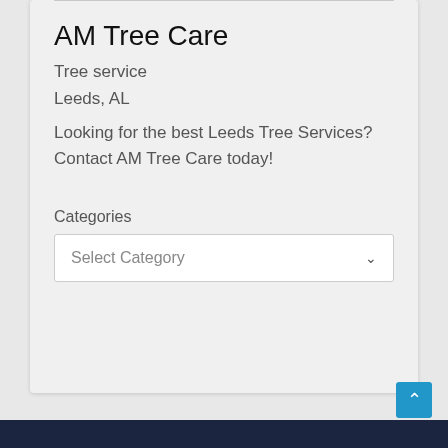AM Tree Care
Tree service
Leeds, AL
Looking for the best Leeds Tree Services? Contact AM Tree Care today!
Categories
Select Category